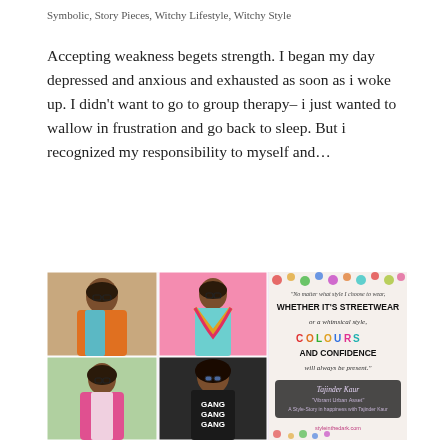Symbolic, Story Pieces, Witchy Lifestyle, Witchy Style
Accepting weakness begets strength. I began my day depressed and anxious and exhausted as soon as i woke up. I didn't want to go to group therapy– i just wanted to wallow in frustration and go back to sleep. But i recognized my responsibility to myself and…
[Figure (photo): Collage of four photos of a young woman in various colorful outfits, alongside a quote card reading: 'No matter what style I choose to wear, WHETHER IT'S STREETWEAR or a whimsical style, COLOURS AND CONFIDENCE will always be present.' attributed to Tajinder Kaur, 'Vibrant Urban Asset', A Style-Story in happiness with Tajinder Kaur, styleinthedark.com]